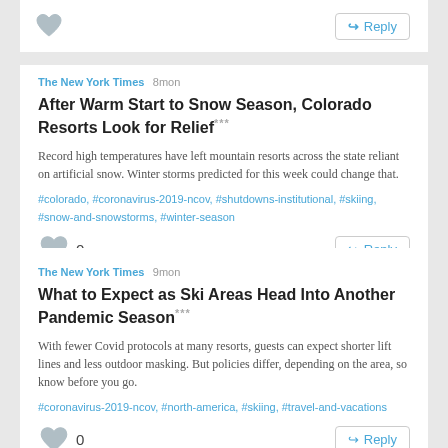[Figure (other): Top partial card with a like heart icon and Reply button]
The New York Times 8mon
After Warm Start to Snow Season, Colorado Resorts Look for Relief
Record high temperatures have left mountain resorts across the state reliant on artificial snow. Winter storms predicted for this week could change that.
#colorado, #coronavirus-2019-ncov, #shutdowns-institutional, #skiing, #snow-and-snowstorms, #winter-season
The New York Times 9mon
What to Expect as Ski Areas Head Into Another Pandemic Season
With fewer Covid protocols at many resorts, guests can expect shorter lift lines and less outdoor masking. But policies differ, depending on the area, so know before you go.
#coronavirus-2019-ncov, #north-america, #skiing, #travel-and-vacations